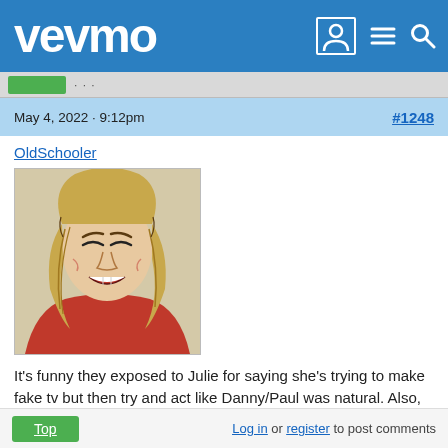vevmo
May 4, 2022 · 9:12pm    #1248
OldSchooler
[Figure (photo): Avatar image showing a tattoo-style illustration of a woman with long blonde hair laughing, wearing a red top, rendered with bold ink lines.]
It's funny they exposed to Julie for saying she's trying to make fake tv but then try and act like Danny/Paul was natural. Also, Danny's storyline is interesting but his personality makes it soooo boring. He has a negative amount of charisma.
Top    Log in or register to post comments